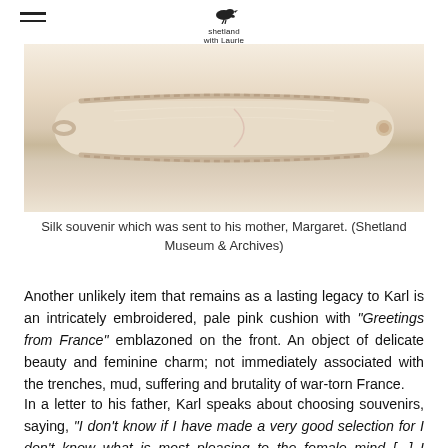shetland with Laurie
[Figure (photo): A pale cream/beige silk souvenir cushion or pouch with braided rope edging, photographed from above on a white background.]
Silk souvenir which was sent to his mother, Margaret. (Shetland Museum & Archives)
Another unlikely item that remains as a lasting legacy to Karl is an intricately embroidered, pale pink cushion with “Greetings from France” emblazoned on the front. An object of delicate beauty and feminine charm; not immediately associated with the trenches, mud, suffering and brutality of war-torn France.
In a letter to his father, Karl speaks about choosing souvenirs, saying, “I don’t know if I have made a very good selection for I don’t know what is most pleasing to the female mind [...] I meant M...